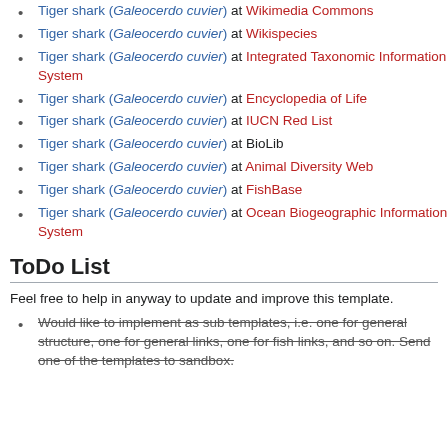Tiger shark (Galeocerdo cuvier) at Wikimedia Commons
Tiger shark (Galeocerdo cuvier) at Wikispecies
Tiger shark (Galeocerdo cuvier) at Integrated Taxonomic Information System
Tiger shark (Galeocerdo cuvier) at Encyclopedia of Life
Tiger shark (Galeocerdo cuvier) at IUCN Red List
Tiger shark (Galeocerdo cuvier) at BioLib
Tiger shark (Galeocerdo cuvier) at Animal Diversity Web
Tiger shark (Galeocerdo cuvier) at FishBase
Tiger shark (Galeocerdo cuvier) at Ocean Biogeographic Information System
ToDo List
Feel free to help in anyway to update and improve this template.
Would like to implement as sub templates, i.e. one for general structure, one for general links, one for fish links, and so on. Send one of the templates to sandbox.